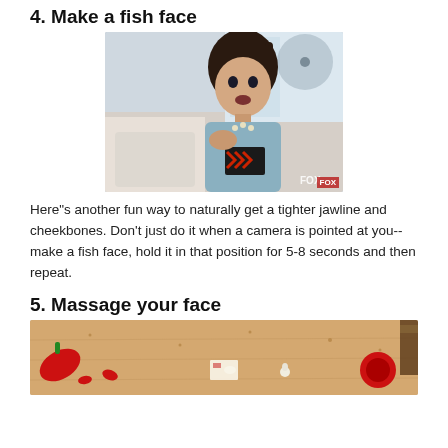4. Make a fish face
[Figure (photo): Woman with surprised expression, sitting on sofa, wearing a blue top and necklace, holding a patterned clutch. FOX watermark visible.]
Here"s another fun way to naturally get a tighter jawline and cheekbones. Don’t just do it when a camera is pointed at you--make a fish face, hold it in that position for 5-8 seconds and then repeat.
5. Massage your face
[Figure (photo): Close-up of a wooden surface with red kitchen tools/ingredients scattered on it, including what appears to be a pepper and other objects.]